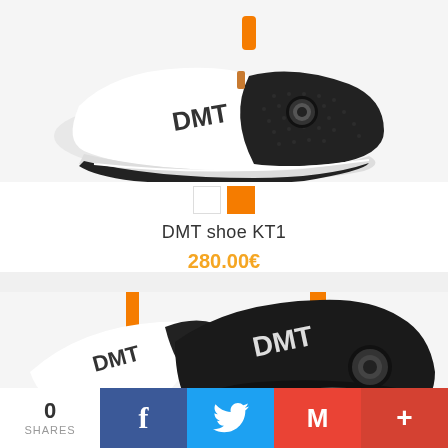[Figure (photo): DMT KT1 triathlon cycling shoe in white and black with orange pull tab, shown from side angle on white/light grey background. Two color swatches below: white and orange.]
DMT shoe KT1
280.00€
[Figure (photo): DMT KT1 triathlon cycling shoe in black and green with orange pull tab, shown from side angle cropped at bottom of page.]
0 SHARES